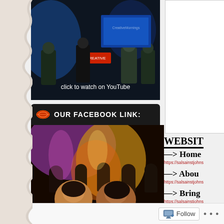[Figure (screenshot): Video thumbnail showing people on a stage with dark blue background, text overlay reading 'click to watch on YouTube']
[Figure (screenshot): Black banner with red frisbee icon and text 'OUR FACEBOOK LINK:']
[Figure (photo): Party/dance scene photo with colorful lights, crowd of people, two women in foreground]
[Figure (screenshot): Right column white box panel, partially visible]
WEBSITE
—> Home
https://salsainstjohns
—> Abou
https://salsainstjohns
—> Bring
https://salsainstjohns
Follow
...